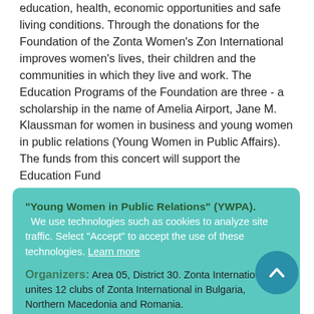education, health, economic opportunities and safe living conditions. Through the donations for the Foundation of the Zonta Women's Zon International improves women's lives, their children and the communities in which they live and work. The Education Programs of the Foundation are three - a scholarship in the name of Amelia Airport, Jane M. Klaussman for women in business and young women in public relations (Young Women in Public Affairs). The funds from this concert will support the Education Fund
"Young Women in Public Relations" (YWPA).
We use technologies such as cookies to analyze site traffic. Select "Accept" to accept the use of these technologies. Learn more
Organizers: Area 05, District 30. Zonta International unites 12 clubs of Zonta International in Bulgaria, Northern Macedonia and Romania.
Accept